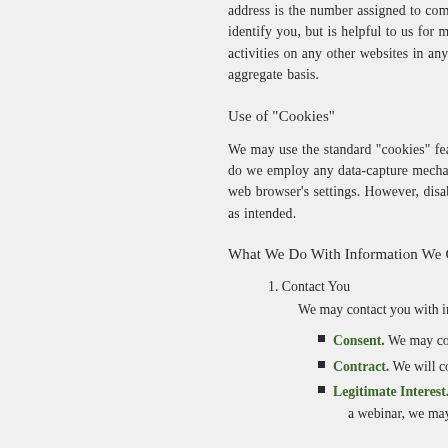address is the number assigned to computers connected to the internet. It does not identify you, but is helpful to us for marketing purposes. We do not track your activities on any other websites in any way. Anonymous IP address data is used on aggregate basis.
Use of "Cookies"
We may use the standard "cookies" feature of major browser software. Nor do we employ any data-capture mechanisms on our website other than through your web browser's settings. However, disabling this feature may affect the site working as intended.
What We Do With Information We Collect.
1. Contact You
We may contact you with information that you request from us.
Consent. We may contact you if you give us your consent to do so.
Contract. We will contact you under our contract with you.
Legitimate Interest. We may contact you if it is in our legitimate interest to do so, e.g. if you registered for a webinar, we may send you marketing e...